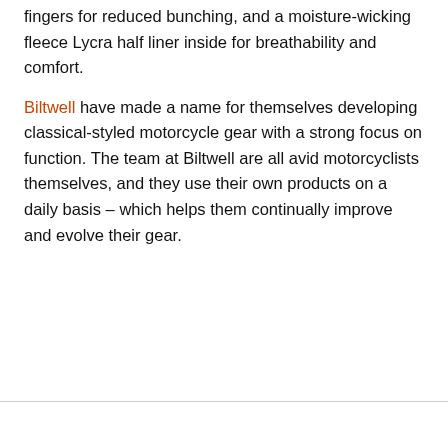fingers for reduced bunching, and a moisture-wicking fleece Lycra half liner inside for breathability and comfort.
Biltwell have made a name for themselves developing classical-styled motorcycle gear with a strong focus on function. The team at Biltwell are all avid motorcyclists themselves, and they use their own products on a daily basis – which helps them continually improve and evolve their gear.